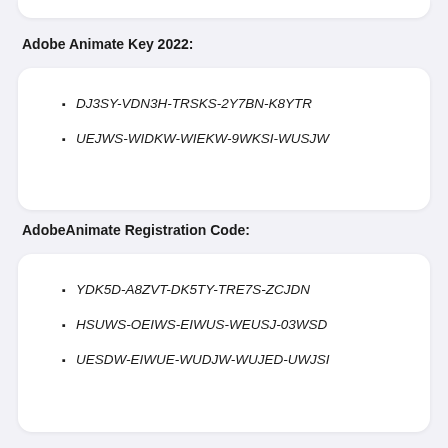Adobe Animate Key 2022:
DJ3SY-VDN3H-TRSKS-2Y7BN-K8YTR
UEJWS-WIDKW-WIEKW-9WKSI-WUSJW
AdobeAnimate Registration Code:
YDK5D-A8ZVT-DK5TY-TRE7S-ZCJDN
HSUWS-OEIWS-EIWUS-WEUSJ-03WSD
UESDW-EIWUE-WUDJW-WUJED-UWJSI